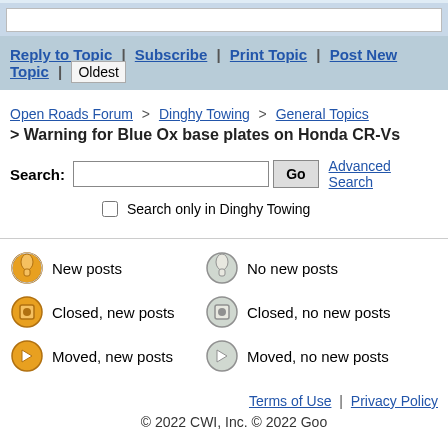Reply to Topic | Subscribe | Print Topic | Post New Topic | Oldest
Open Roads Forum > Dinghy Towing > General Topics
> Warning for Blue Ox base plates on Honda CR-Vs
Search: [input] Go  Advanced Search
☐ Search only in Dinghy Towing
New posts | No new posts | Closed, new posts | Closed, no new posts | Moved, new posts | Moved, no new posts
Terms of Use | Privacy Policy
© 2022 CWI, Inc. © 2022 Goo...